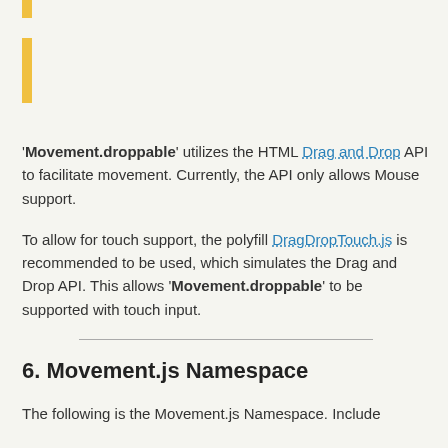[Figure (other): Two yellow vertical bar decorations on the left side of the page]
'Movement.droppable' utilizes the HTML Drag and Drop API to facilitate movement. Currently, the API only allows Mouse support.
To allow for touch support, the polyfill DragDropTouch.js is recommended to be used, which simulates the Drag and Drop API. This allows 'Movement.droppable' to be supported with touch input.
6. Movement.js Namespace
The following is the Movement.js Namespace. Include